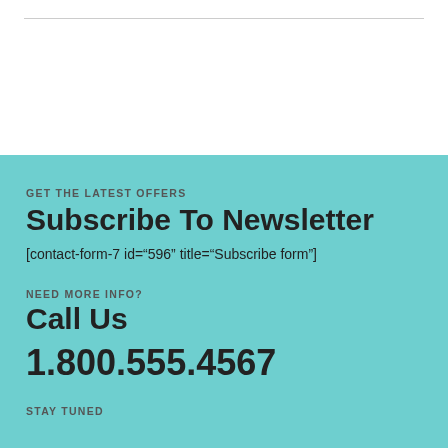GET THE LATEST OFFERS
Subscribe To Newsletter
[contact-form-7 id="596" title="Subscribe form"]
NEED MORE INFO?
Call Us
1.800.555.4567
STAY TUNED